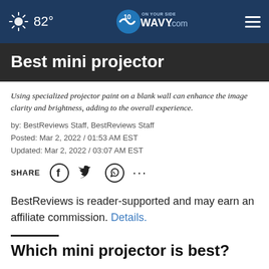82° WAVY.com ON YOUR SIDE
Best mini projector
Using specialized projector paint on a blank wall can enhance the image clarity and brightness, adding to the overall experience.
by: BestReviews Staff, BestReviews Staff
Posted: Mar 2, 2022 / 01:53 AM EST
Updated: Mar 2, 2022 / 03:07 AM EST
SHARE [Facebook] [Twitter] [WhatsApp] [...]
BestReviews is reader-supported and may earn an affiliate commission. Details.
Which mini projector is best?